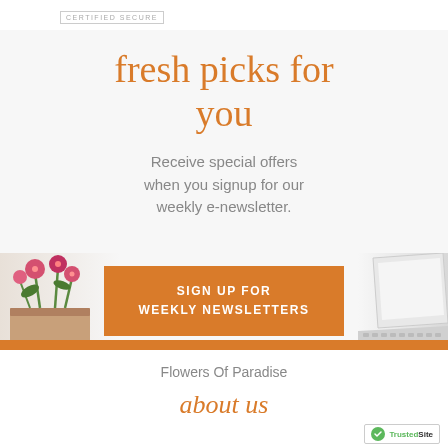[Figure (logo): Certified Secure badge/label at top]
fresh picks for you
Receive special offers when you signup for our weekly e-newsletter.
[Figure (illustration): Orange CTA button reading SIGN UP FOR WEEKLY NEWSLETTERS, with flowers on left and laptop on right]
Flowers Of Paradise
about us
[Figure (logo): TrustedSite badge with green checkmark in bottom right corner]